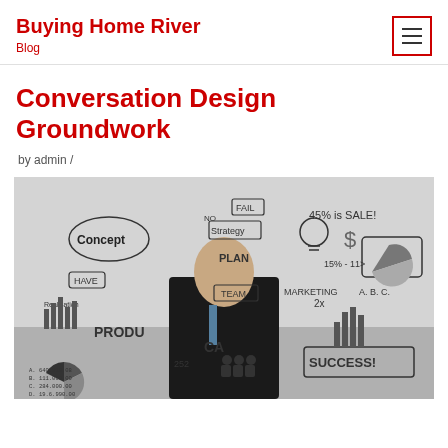Buying Home River
Blog
Conversation Design Groundwork
by admin /
[Figure (photo): A man in a suit sitting at a desk in front of a whiteboard filled with hand-drawn business concepts including words like Concept, Strategy, Plan, Team, Marketing, Product, Success, and various diagrams, charts, and the text '45% is SALE!']